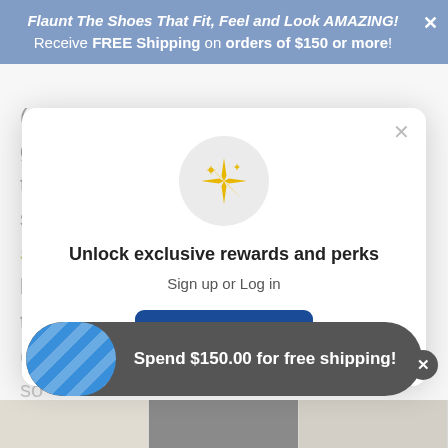Flaunt The Shoes That Fit, Feel and Look AMAZING! Receive FREE Shipping on orders of $150 or more!
(our musicians seen above) and first-grade teacher! Laura loves a basic jeans and t-shirt look and chose the Nella thong sandal because it's easy to slip on and run out the door, but the super cushy insoles make it so
[Figure (screenshot): Modal popup with sparkle icon, 'Unlock exclusive rewards and perks' heading, 'Sign up or Log in' subtext, and a blue 'Sign up' button]
Spend $150.00 for free shipping!